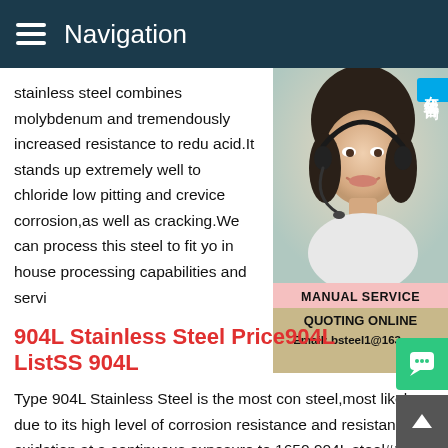Navigation
stainless steel combines molybdenum and tremendously increased resistance to redu acid.It stands up extremely well to chloride low pitting and crevice corrosion,as well as cracking.We can process this steel to fit yo in house processing capabilities and servi
[Figure (photo): Customer service representative woman wearing a headset, with online consultation badge and manual service/quoting online contact information overlay]
904L Stainless Steel Price904L ListSS 904L
Type 904L Stainless Steel is the most con steel,most likely due to its high level of corrosion resistance and resistance to oxidation at a continuous exposure to 1650 904L steel#176; F.SP Metal is a Global Supplier Of High Quality 904 Stainless Steel with UNS N08904,EN904L Stainless Steel Pip 904L PipeStainless Steel 904L pipe is made from high alloy austenitic stainless steel that is known for its corrosion